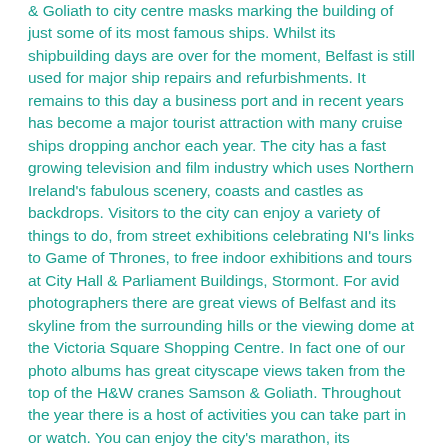& Goliath to city centre masks marking the building of just some of its most famous ships. Whilst its shipbuilding days are over for the moment, Belfast is still used for major ship repairs and refurbishments. It remains to this day a business port and in recent years has become a major tourist attraction with many cruise ships dropping anchor each year. The city has a fast growing television and film industry which uses Northern Ireland's fabulous scenery, coasts and castles as backdrops. Visitors to the city can enjoy a variety of things to do, from street exhibitions celebrating NI's links to Game of Thrones, to free indoor exhibitions and tours at City Hall & Parliament Buildings, Stormont. For avid photographers there are great views of Belfast and its skyline from the surrounding hills or the viewing dome at the Victoria Square Shopping Centre. In fact one of our photo albums has great cityscape views taken from the top of the H&W cranes Samson & Goliath. Throughout the year there is a host of activities you can take part in or watch. You can enjoy the city's marathon, its continental markets, its maritime events and its many festivals.
Before you go! We would love to publish your photos of Belfast along side your experiences and stories. So, if you have photos old or new, printed or in digital format email us, we'd love to speak with you! Oh, and if you have drone footage you'd like to share drop us an email!
If you want to explore more, simply visit our city guide. Click the...